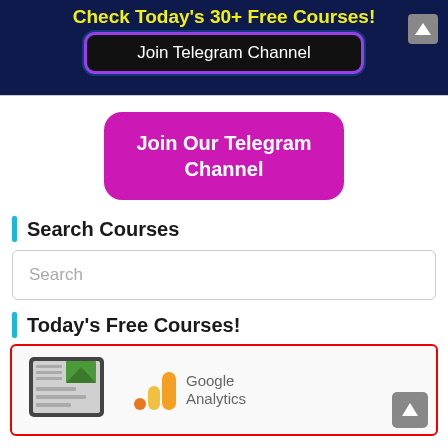Check Today's 30+ Free Courses!
Join Telegram Channel
Join Our Telegram Channel
Search Courses
Search
Today's Free Courses!
[Figure (illustration): Course card with red border showing a tablet illustration on the left and Google Analytics logo on the right]